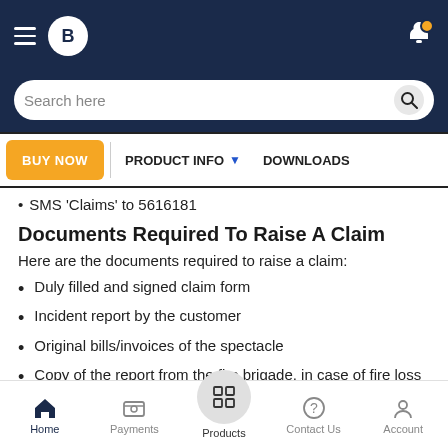[Figure (screenshot): Mobile app top navigation bar with hamburger menu, F logo, and bell notification icon]
[Figure (screenshot): Search bar with placeholder text 'Search here' and search icon]
[Figure (screenshot): Tab bar with BUY NOW (orange), PRODUCT INFO (with dropdown arrow), and DOWNLOADS tabs]
• SMS 'Claims' to 5616181
Documents Required To Raise A Claim
Here are the documents required to raise a claim:
Duly filled and signed claim form
Incident report by the customer
Original bills/invoices of the spectacle
Copy of the report from the fire brigade, in case of fire loss
Copy of the FIR, in case of theft or burglary
Home | Payments | Products | Contact Us | Account